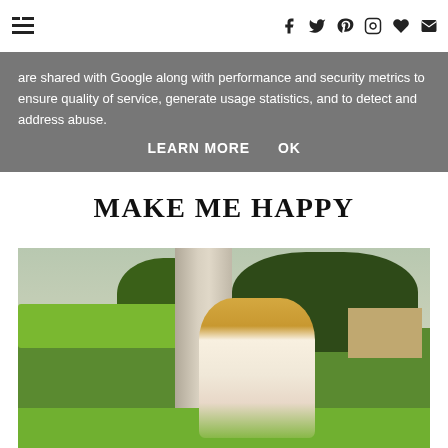[hamburger menu icon] [social icons: f, twitter, pinterest, instagram, heart, mail]
are shared with Google along with performance and security metrics to ensure quality of service, generate usage statistics, and to detect and address abuse.
LEARN MORE   OK
MAKE ME HAPPY
[Figure (photo): Outdoor photo of a young blonde woman smiling, standing next to a stone/concrete column, with green hedges and trees in the background]